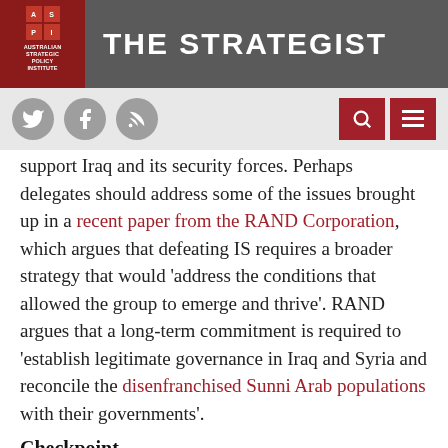THE STRATEGIST — Australian Strategic Policy Institute
support Iraq and its security forces. Perhaps delegates should address some of the issues brought up in a recent paper from the RAND Corporation, which argues that defeating IS requires a broader strategy that would 'address the conditions that allowed the group to emerge and thrive'. RAND argues that a long-term commitment is required to 'establish legitimate governance in Iraq and Syria and reconcile the disenfranchised Sunni Arab populations with their governments'.
Checkpoint
Oz biosecurity tough on rare plants
What do Johnny Depp's dogs and pressed plant specimens from the mid-1800s have in common? The answer is that they've both come up against Australia's tough biosecurity laws. While